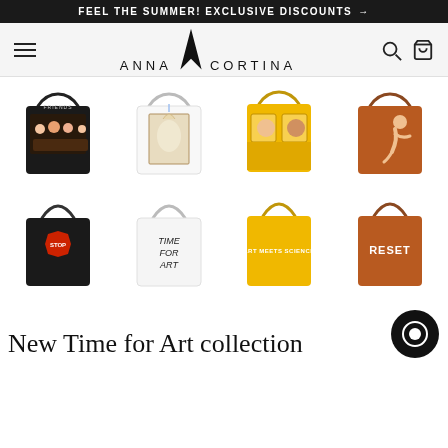FEEL THE SUMMER! EXCLUSIVE DISCOUNTS →
[Figure (logo): Anna Cortina brand logo with stylized A in center, navigation hamburger menu on left, search and bag icons on right]
[Figure (photo): 8 tote bags in a 4x2 grid: Row 1 - black bag with cartoon art, white bag with unicorn Mona Lisa art, yellow bag with portrait art, brown/rust bag with figure art. Row 2 - black bag with stop sign, white bag with TIME FOR ART text, yellow bag with ART MEETS SCIENCE text, brown/rust bag with RESET text]
New Time for Art collection